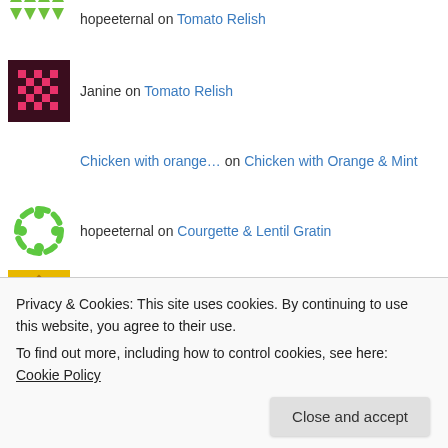hopeeternal on Tomato Relish
Janine on Tomato Relish
Chicken with orange… on Chicken with Orange & Mint
hopeeternal on Courgette & Lentil Gratin
Chris Lees on Basic Recipe: Suet Dumplings
catherine Roberts on Beetroot Chutney
Paul Pringle on Chicken & Bacon Fricassée
Louise on Speedy Tomato Ketchup
Privacy & Cookies: This site uses cookies. By continuing to use this website, you agree to their use.
To find out more, including how to control cookies, see here: Cookie Policy